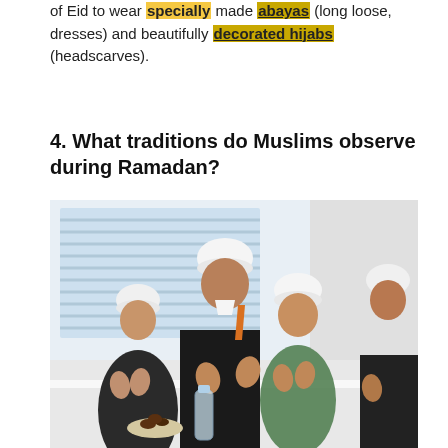of Eid to wear specially made abayas (long loose, dresses) and beautifully decorated hijabs (headscarves).
4. What traditions do Muslims observe during Ramadan?
[Figure (photo): A man and three children wearing white kufi caps sit together at a table, hands raised in prayer/supplication. A water bottle and a plate of dates are visible on the table. Bright window with blinds in the background.]